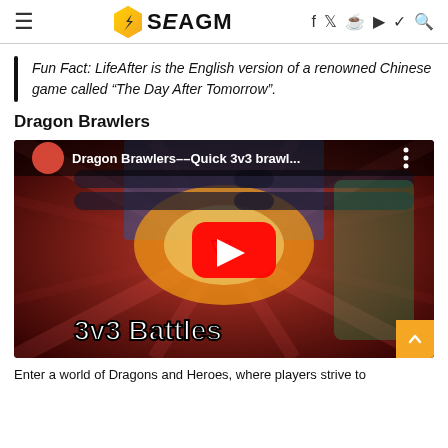SEAGM
Fun Fact: LifeAfter is the English version of a renowned Chinese game called “The Day After Tomorrow”.
Dragon Brawlers
[Figure (screenshot): YouTube video thumbnail showing Dragon Brawlers--Quick 3v3 brawl... with game characters and 3v3 Battles text, with a red YouTube play button overlay.]
Enter a world of Dragons and Heroes, where players strive to